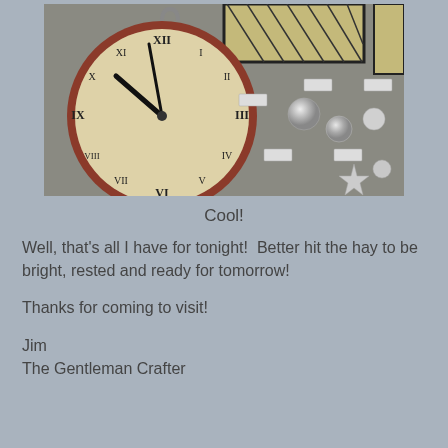[Figure (photo): A vintage-style large round clock with Roman numerals and black hands, displayed against a gray textured wall alongside silver Christmas ornaments including balls and a star, and framed artwork in the background.]
Cool!
Well, that's all I have for tonight!  Better hit the hay to be bright, rested and ready for tomorrow!
Thanks for coming to visit!
Jim
The Gentleman Crafter